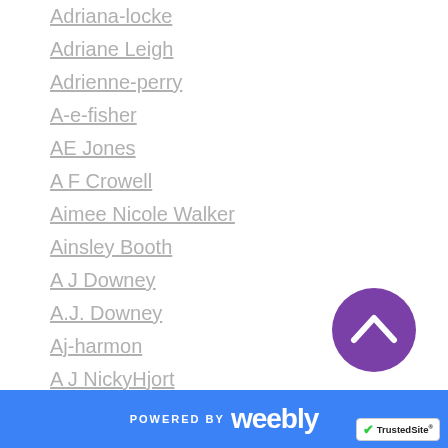Adriana-locke
Adriane Leigh
Adrienne-perry
A-e-fisher
AE Jones
A F Crowell
Aimee Nicole Walker
Ainsley Booth
A J Downey
A.J. Downey
Aj-harmon
A J NickyHjort
A J Norris
A.K. Evans'
Akoya Rayne
Alana Albertson
Aleatha Romig
[Figure (other): Purple circular scroll-to-top button with upward chevron arrow]
POWERED BY weebly   TrustedSite